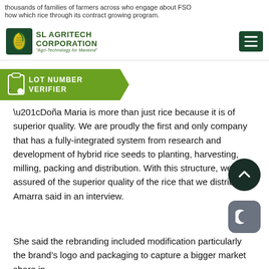thousands of families of farmers across who engage about FSO how which rice through its contract growing program.
[Figure (logo): SL Agritech Corporation logo with corn/rice icon and tagline 'Agri-Technology for Mankind']
[Figure (other): Lot Number Verifier badge with clipboard icon]
“Doña Maria is more than just rice because it is of superior quality. We are proudly the first and only company that has a fully-integrated system from research and development of hybrid rice seeds to planting, harvesting, milling, packing and distribution. With this structure, we are assured of the superior quality of the rice that we distribute,” Amarra said in an interview.
She said the rebranding included modification particularly the brand’s logo and packaging to capture a bigger market share in